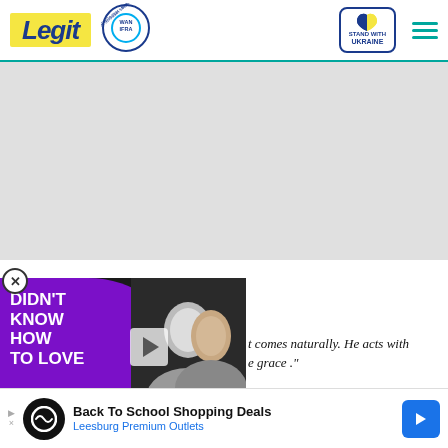Legit | WAN-IFRA 2021 Best News Website in Africa | Stand With Ukraine
[Figure (screenshot): Grey advertisement placeholder area]
[Figure (photo): Video overlay with purple background text DIDN'T KNOW HOW TO LOVE, play button, and photo of couple]
t comes naturally. He acts with grace ."
[Figure (infographic): Bottom advertisement: Back To School Shopping Deals - Leesburg Premium Outlets]